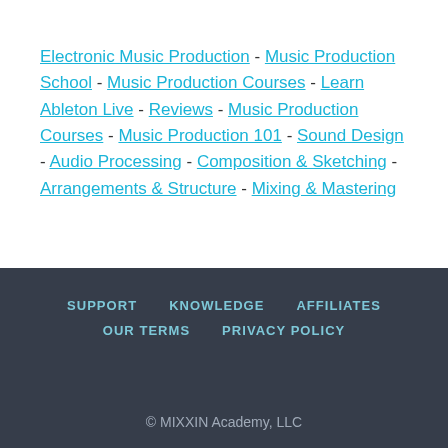Electronic Music Production - Music Production School - Music Production Courses - Learn Ableton Live - Reviews - Music Production Courses - Music Production 101 - Sound Design - Audio Processing - Composition & Sketching - Arrangements & Structure - Mixing & Mastering
SUPPORT  KNOWLEDGE  AFFILIATES  OUR TERMS  PRIVACY POLICY  © MIXXIN Academy, LLC